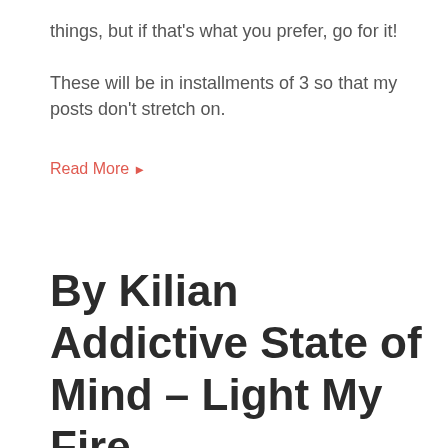things, but if that's what you prefer, go for it!

These will be in installments of 3 so that my posts don't stretch on.
Read More ▶
By Kilian Addictive State of Mind – Light My Fire